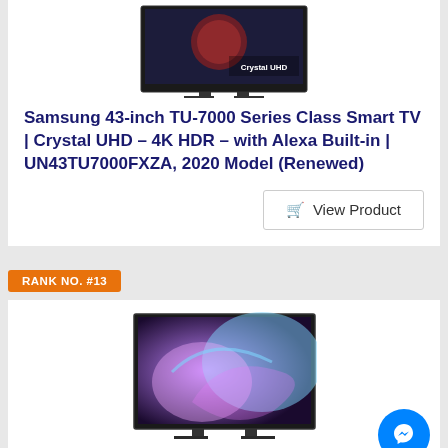[Figure (photo): Samsung Crystal UHD TV product image shown partially at top of page]
Samsung 43-inch TU-7000 Series Class Smart TV | Crystal UHD - 4K HDR - with Alexa Built-in | UN43TU7000FXZA, 2020 Model (Renewed)
View Product
RANK NO. #13
[Figure (photo): Samsung QLED TV product image showing colorful abstract display]
Samsung QN43Q60AA 43" Class Ultra High